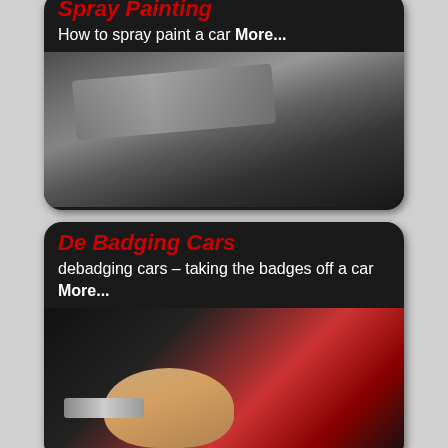[Figure (photo): Spray painting car guide card with photo of car body being spray painted, silver car surface visible]
Spray Painting
How to spray paint a car More...
[Figure (photo): De Badging Cars guide card with photo of hand removing badge from car, red tail light visible]
De Badging Cars
debadging cars – taking the badges off a car More...
[Figure (photo): Car Mats guide card with photo of blue neon lit car interior floor mat area]
Car Mats
Tailored fitted custom and off the shelf car mats. More...
[Figure (photo): Under Car Neons guide card partially visible at bottom]
Under Car Neons